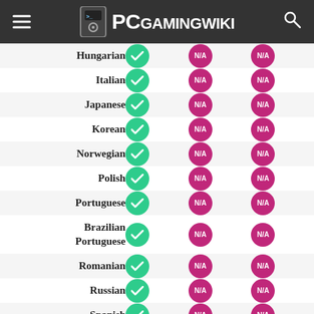PCGamingWiki
| Language | UI | Audio | Subtitles |
| --- | --- | --- | --- |
| Hungarian | ✓ | N/A | N/A |
| Italian | ✓ | N/A | N/A |
| Japanese | ✓ | N/A | N/A |
| Korean | ✓ | N/A | N/A |
| Norwegian | ✓ | N/A | N/A |
| Polish | ✓ | N/A | N/A |
| Portuguese | ✓ | N/A | N/A |
| Brazilian Portuguese | ✓ | N/A | N/A |
| Romanian | ✓ | N/A | N/A |
| Russian | ✓ | N/A | N/A |
| Spanish | ✓ | N/A | N/A |